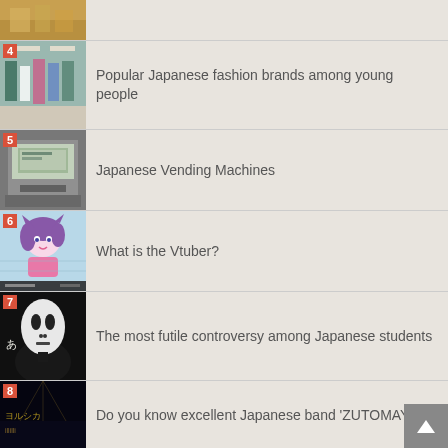[Figure (photo): Partial top thumbnail of a shop interior (item above #4)]
4 Popular Japanese fashion brands among young people
5 Japanese Vending Machines
6 What is the Vtuber?
7 The most futile controversy among Japanese students
8 Do you know excellent Japanese band 'ZUTOMAYO'?